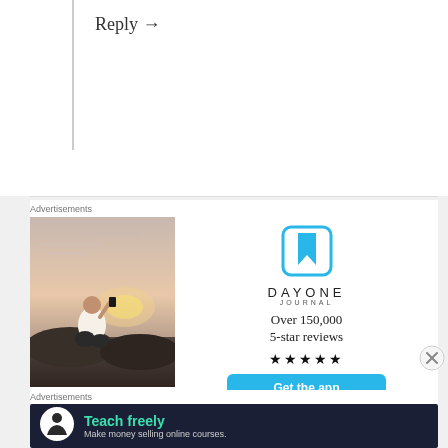Reply →
Advertisements
[Figure (photo): Advertisement image showing a person sitting on rocks photographing a sunset, next to DayOne Journal app promotion with logo, text 'Over 150,000 5-star reviews', five stars, and 'Get the app' button]
REPORT THIS AD
Advertisements
[Figure (infographic): Banner ad for online course platform showing icon and text 'Teach freely - Make money selling online courses.']